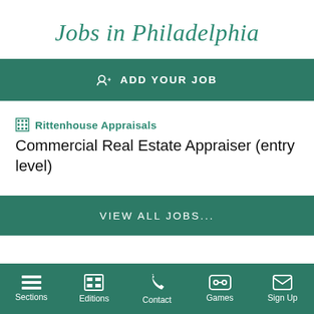Jobs in Philadelphia
👤+ ADD YOUR JOB
Rittenhouse Appraisals
Commercial Real Estate Appraiser (entry level)
VIEW ALL JOBS...
Sections | Editions | Contact | Games | Sign Up